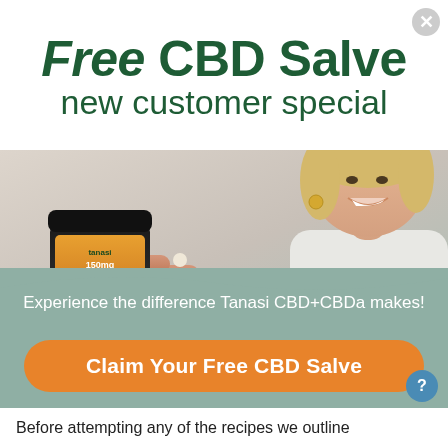Free CBD Salve
new customer special
[Figure (photo): Promotional advertisement photo showing a hand holding a Tanasi 150mg CBD salve jar on the left, and a smiling blond woman holding a small jar on the right, with a light background.]
Experience the difference Tanasi CBD+CBDa makes!
Claim Your Free CBD Salve
Before attempting any of the recipes we outline